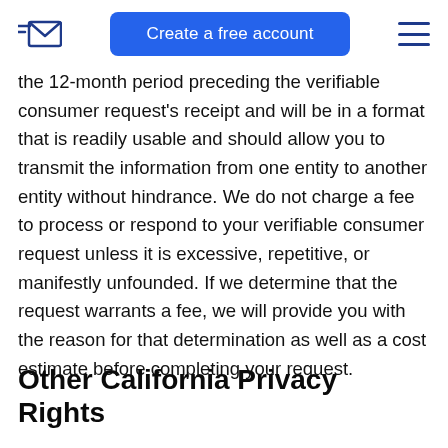Create a free account
the 12-month period preceding the verifiable consumer request's receipt and will be in a format that is readily usable and should allow you to transmit the information from one entity to another entity without hindrance. We do not charge a fee to process or respond to your verifiable consumer request unless it is excessive, repetitive, or manifestly unfounded. If we determine that the request warrants a fee, we will provide you with the reason for that determination as well as a cost estimate before completing your request.
Other California Privacy Rights